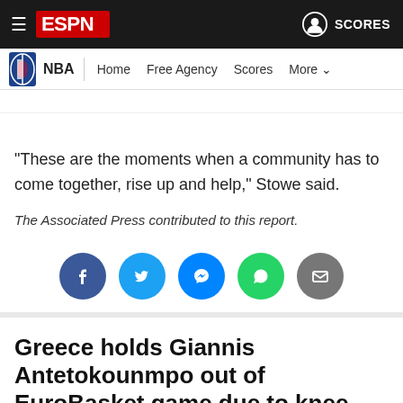ESPN — NBA | Home | Free Agency | Scores | More
"These are the moments when a community has to come together, rise up and help," Stowe said.
The Associated Press contributed to this report.
[Figure (infographic): Social share buttons: Facebook, Twitter, Messenger, WhatsApp, Email]
Greece holds Giannis Antetokounmpo out of EuroBasket game due to knee pain; 'nothing